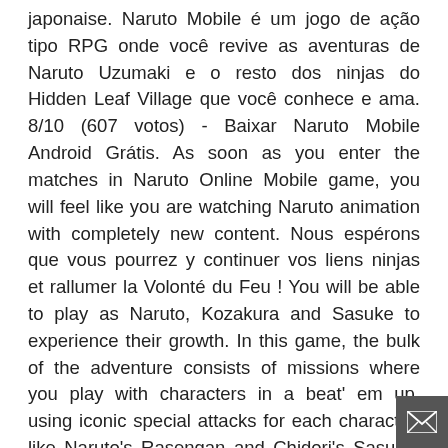japonaise. Naruto Mobile é um jogo de ação tipo RPG onde você revive as aventuras de Naruto Uzumaki e o resto dos ninjas do Hidden Leaf Village que você conhece e ama. 8/10 (607 votos) - Baixar Naruto Mobile Android Grátis. As soon as you enter the matches in Naruto Online Mobile game, you will feel like you are watching Naruto animation with completely new content. Nous espérons que vous pourrez y continuer vos liens ninjas et rallumer la Volonté du Feu ! You will be able to play as Naruto, Kozakura and Sasuke to experience their growth. In this game, the bulk of the adventure consists of missions where you play with characters in a beat' em up, using iconic special attacks for each character, like Naruto's Rasengan and Chidori's Sasuke. in: Activation Code, OASISGAMES, ... It is unclear what specific release date information is, we will update the latest news about Naruto Online Mobile to readers. NARUTO